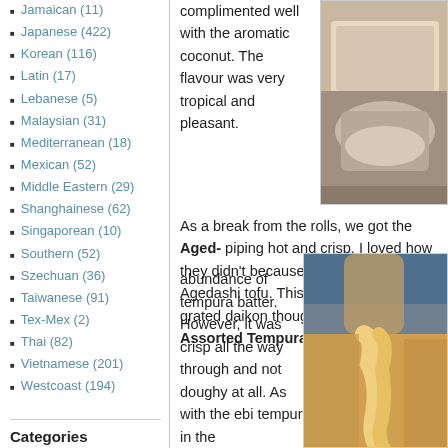Jamaican (11)
Japanese (422)
Korean (116)
Latin (17)
Lebanese (5)
Malaysian (31)
Mediterranean (18)
Mexican (52)
Middle Eastern (29)
Shanghainese (62)
Singaporean (10)
Southern (52)
Szechuan (36)
Taiwanese (91)
Tex-Mex (2)
Thai (82)
Vietnamese (201)
Westcoast (194)
Categories
complimented well with the aromatic coconut. The flavour was very tropical and pleasant.
[Figure (photo): Photo of food item on a plate, appears to be tofu or similar dish]
As a break from the rolls, we got the Aged- piping hot and crisp. I loved how they didn't because I hate soggy Agedashi tofu. This w to see some grated daikon though. Moving had the Assorted Tempura. At first glance abundance of tempura batter. However, it was crisp all the way through and not doughy at all. As with the ebi tempura in the
[Figure (photo): Photo of tempura dish, showing crispy battered shrimp tempura]